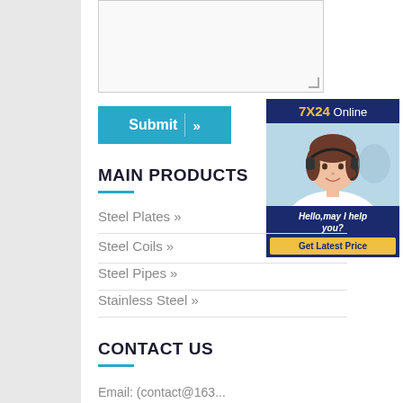[Figure (other): Textarea input box, partially visible at top of page]
[Figure (other): Submit button with teal background and double chevron arrow]
[Figure (other): 7X24 Online chat widget showing a woman with headset, text: Hello,may I help you? and Get Latest Price button]
MAIN PRODUCTS
Steel Plates »
Steel Coils »
Steel Pipes »
Stainless Steel »
CONTACT US
Email: (partially visible)